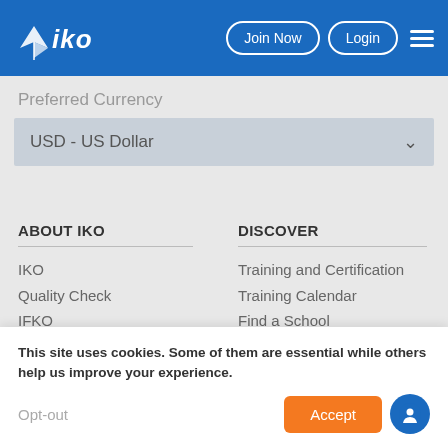IKO — Join Now  Login
Preferred Currency
USD - US Dollar
ABOUT IKO
IKO
Quality Check
IFKO
Merchants
Jobs
DISCOVER
Training and Certification
Training Calendar
Find a School
Find an Instructor
Request Certification
This site uses cookies. Some of them are essential while others help us improve your experience.
Opt-out
Accept